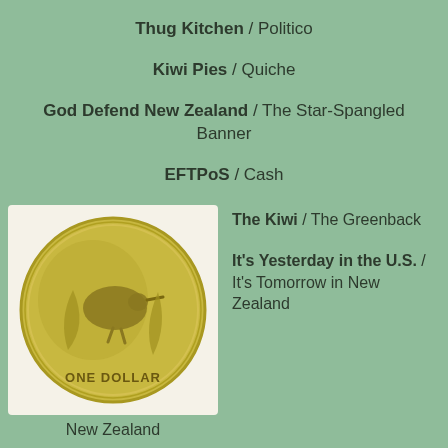Thug Kitchen / Politico
Kiwi Pies / Quiche
God Defend New Zealand / The Star-Spangled Banner
EFTPoS / Cash
[Figure (photo): A New Zealand one dollar coin showing a kiwi bird on a white background]
New Zealand
The Kiwi / The Greenback
It's Yesterday in the U.S. / It's Tomorrow in New Zealand